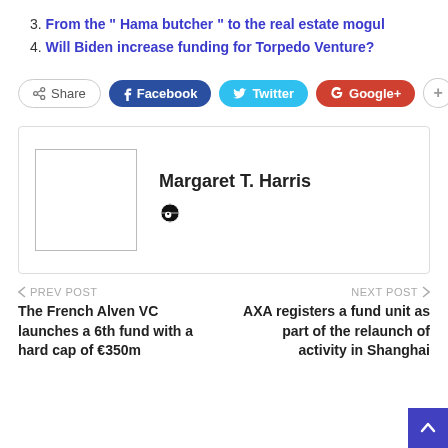3. From the “ Hama butcher ” to the real estate mogul
4. Will Biden increase funding for Torpedo Venture?
[Figure (other): Social sharing buttons: Share, Facebook, Twitter, Google+, plus button]
Margaret T. Harris
PREV POST - The French Alven VC launches a 6th fund with a hard cap of €350m
NEXT POST - AXA registers a fund unit as part of the relaunch of activity in Shanghai